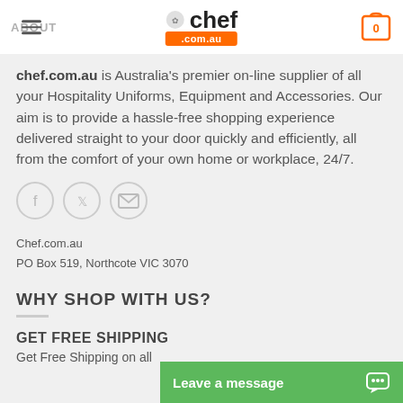ABOUT | chef.com.au | 0
chef.com.au is Australia's premier on-line supplier of all your Hospitality Uniforms, Equipment and Accessories. Our aim is to provide a hassle-free shopping experience delivered straight to your door quickly and efficiently, all from the comfort of your own home or workplace, 24/7.
[Figure (illustration): Three social media icons in circles: Facebook (f), Twitter (bird), Email (envelope)]
Chef.com.au
PO Box 519, Northcote VIC 3070
WHY SHOP WITH US?
GET FREE SHIPPING
Get Free Shipping on all
[Figure (screenshot): Green Leave a message button with chat icon at bottom right]